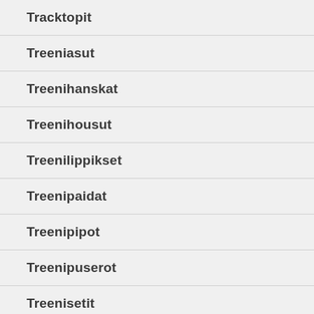Tracktopit
Treeniasut
Treenihanskat
Treenihousut
Treenilippikset
Treenipaidat
Treenipipot
Treenipuserot
Treenisetit